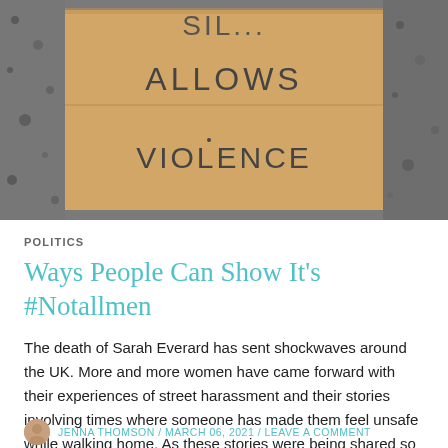[Figure (photo): A cardboard protest sign on gravel/pavement reading 'SILENCE ALLOWS VIOLENCE' (top partially cropped), handwritten in large letters across two cardboard pieces.]
POLITICS
Ways People Can Show It's #Notallmen
The death of Sarah Everard has sent shockwaves around the UK. More and more women have came forward with their experiences of street harassment and their stories involving times where someone has made them feel unsafe while walking home. As these stories were being shared so was a new hashtag. #notallmen. As a statement the hashtag itself isn't one to argue with as it is …
Continue reading
JENNA THOMSON / MARCH 06, 2021 / LEAVE A COMMENT